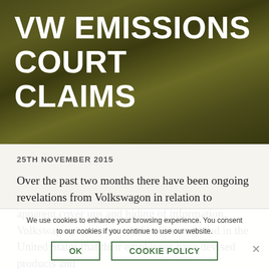VW EMISSIONS COURT CLAIMS
25TH NOVEMBER 2015
Over the past two months there have been ongoing revelations from Volkswagon in relation to apparent cover ups and hiding of information. Volkswagon have conceded in Germany and in the United States that their employees have devised products and schemes to mask the extent of the emissions created by their cars. It is estimated that in Ireland approximately 9,000 cars may be involved.

Initially, Volkswagon accepted that they had
We use cookies to enhance your browsing experience. You consent to our cookies if you continue to use our website.